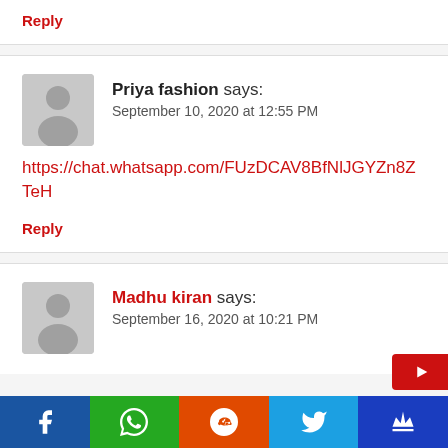Reply
Priya fashion says:
September 10, 2020 at 12:55 PM
https://chat.whatsapp.com/FUzDCAV8BfNlJGYZn8ZTeH
Reply
Madhu kiran says:
September 16, 2020 at 10:21 PM